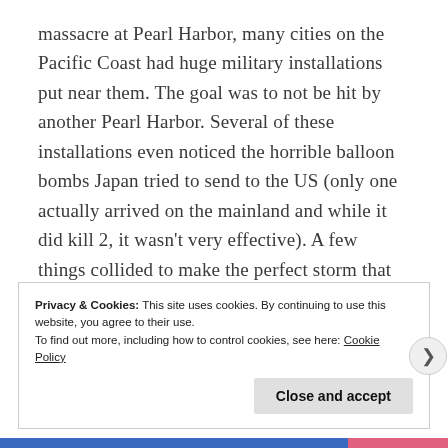massacre at Pearl Harbor, many cities on the Pacific Coast had huge military installations put near them. The goal was to not be hit by another Pearl Harbor. Several of these installations even noticed the horrible balloon bombs Japan tried to send to the US (only one actually arrived on the mainland and while it did kill 2, it wasn't very effective). A few things collided to make the perfect storm that would become known as the Battle of Los Angeles.
Privacy & Cookies: This site uses cookies. By continuing to use this website, you agree to their use.
To find out more, including how to control cookies, see here: Cookie Policy
Close and accept